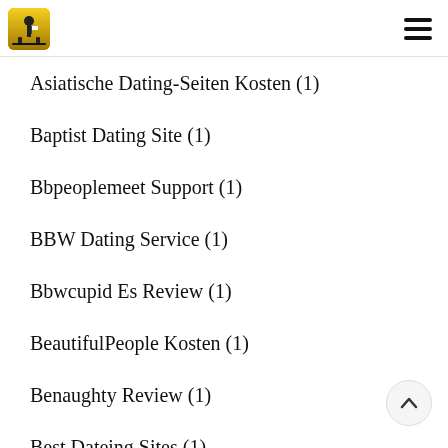Logo and navigation menu
Asiatische Dating-Seiten Kosten (1)
Baptist Dating Site (1)
Bbpeoplemeet Support (1)
BBW Dating Service (1)
Bbwcupid Es Review (1)
BeautifulPeople Kosten (1)
Benaughty Review (1)
Best Dateing Sites (1)
Best Dating Site For Hookups (1)